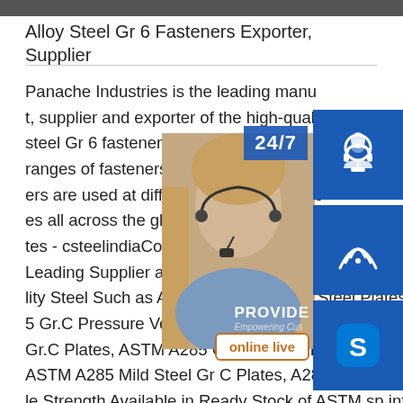[Figure (photo): Dark image bar at top of page, partial photo]
Alloy Steel Gr 6 Fasteners Exporter, Supplier
Panache Industries is the leading manufacturer, supplier and exporter of the high-quality steel Gr 6 fasteners. They are engaged in ranges of fasteners of alloy steel. These ers are used at different ranges of applications all across the globe.sp.info ASTM A285 tes - csteelindiaConquest Steel and Alloy Leading Supplier and Stockist of High Quality Steel Such as ASTM A285 Grade C Steel Plates, A285 Gr.C Pressure Vessel Plates, ASTM A285 Carbon Steel Gr.C Plates, ASTM A285 Grade C Hot Rolled Steel Plate, ASTM A285 Mild Steel Gr C Plates, A285 Gr.C Low Tensile Strength Available in Ready Stock of ASTM sp.info Allo
[Figure (photo): Customer service representative with headset, overlaid with blue icon boxes showing headset icon, phone/wifi icon, Skype icon, 24/7 label, PROVIDE Empowering Customers banner, and online live button]